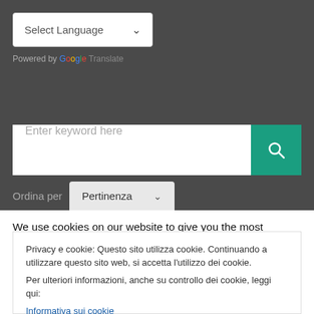[Figure (screenshot): Language selector dropdown showing 'Select Language' with chevron, on dark background]
Powered by Google Translate
[Figure (screenshot): Search bar with placeholder 'Enter keyword here' and teal search button with magnifying glass icon]
Ordina per
[Figure (screenshot): Sort dropdown showing 'Pertinenza' with chevron]
We use cookies on our website to give you the most relevant
Privacy e cookie: Questo sito utilizza cookie. Continuando a utilizzare questo sito web, si accetta l'utilizzo dei cookie.
Per ulteriori informazioni, anche su controllo dei cookie, leggi qui:
Informativa sui cookie
Accetta e chiudi